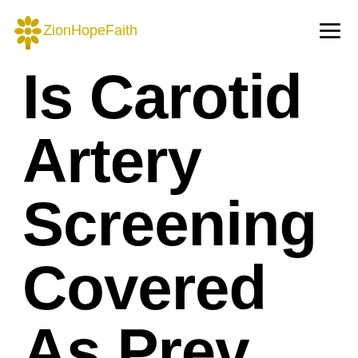ZionHopeFaith
Is Carotid Artery Screening Covered As Preventive Care